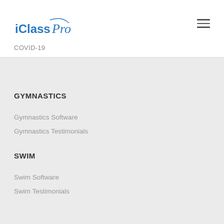[Figure (logo): iClassPro logo in blue cursive/bold text]
COVID-19
GYMNASTICS
Gymnastics Software
Gymnastics Testimonials
SWIM
Swim Software
Swim Testimonials